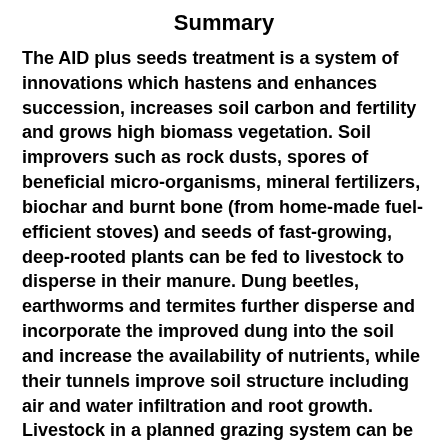Summary
The AID plus seeds treatment is a system of innovations which hastens and enhances succession, increases soil carbon and fertility and grows high biomass vegetation. Soil improvers such as rock dusts, spores of beneficial micro-organisms, mineral fertilizers, biochar and burnt bone (from home-made fuel-efficient stoves) and seeds of fast-growing, deep-rooted plants can be fed to livestock to disperse in their manure. Dung beetles, earthworms and termites further disperse and incorporate the improved dung into the soil and increase the availability of nutrients, while their tunnels improve soil structure including air and water infiltration and root growth. Livestock in a planned grazing system can be used to treat/seed areas such as pastures, orchards, plantations